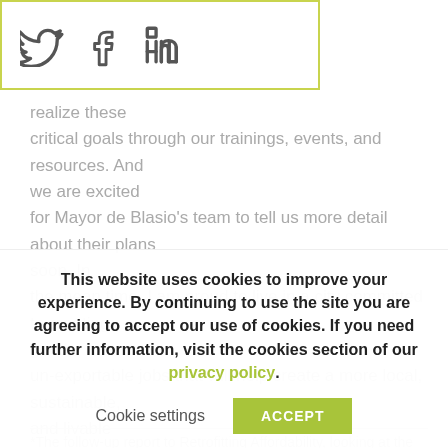[Figure (other): Social media icons: Twitter bird, Facebook f, LinkedIn in, inside a yellow-green bordered box]
realize these critical goals through our trainings, events, and resources. And we are excited for Mayor de Blasio's team to tell us more detail about their plans soon. In the mean time, I am proud to live in a city committed to creating good, un-exportable jobs that will help create a more local, sustainable, and livable city. Because boy do we need it!
*The follow-up report to Retrofitting Affordability, looking at the second year of audit data will be published in the next few
This website uses cookies to improve your experience. By continuing to use the site you are agreeing to accept our use of cookies. If you need further information, visit the cookies section of our privacy policy.
Cookie settings    ACCEPT